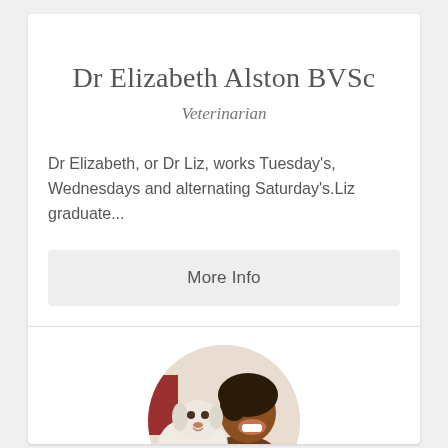Dr Elizabeth Alston BVSc
Veterinarian
Dr Elizabeth, or Dr Liz, works Tuesday's, Wednesdays and alternating Saturday's.Liz graduate...
More Info
[Figure (photo): Circular photo of a smiling woman holding a white puppy]